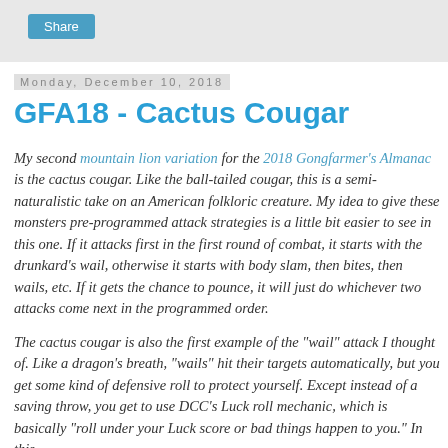[Figure (other): Share button in a light grey header bar]
Monday, December 10, 2018
GFA18 - Cactus Cougar
My second mountain lion variation for the 2018 Gongfarmer's Almanac is the cactus cougar. Like the ball-tailed cougar, this is a semi-naturalistic take on an American folkloric creature. My idea to give these monsters pre-programmed attack strategies is a little bit easier to see in this one. If it attacks first in the first round of combat, it starts with the drunkard's wail, otherwise it starts with body slam, then bites, then wails, etc. If it gets the chance to pounce, it will just do whichever two attacks come next in the programmed order.
The cactus cougar is also the first example of the "wail" attack I thought of. Like a dragon's breath, "wails" hit their targets automatically, but you get some kind of defensive roll to protect yourself. Except instead of a saving throw, you get to use DCC's Luck roll mechanic, which is basically "roll under your Luck score or bad things happen to you." In this